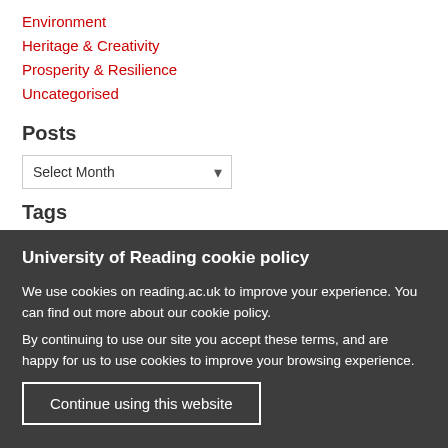Environment
Heritage & Creativity
Prosperity & Resilience
Uncategorised
Posts
Select Month
Tags
University of Reading cookie policy
We use cookies on reading.ac.uk to improve your experience. You can find out more about our cookie policy.
By continuing to use our site you accept these terms, and are happy for us to use cookies to improve your browsing experience.
Continue using this website